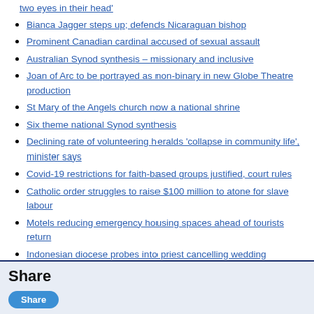two eyes in their head
Bianca Jagger steps up; defends Nicaraguan bishop
Prominent Canadian cardinal accused of sexual assault
Australian Synod synthesis – missionary and inclusive
Joan of Arc to be portrayed as non-binary in new Globe Theatre production
St Mary of the Angels church now a national shrine
Six theme national Synod synthesis
Declining rate of volunteering heralds 'collapse in community life', minister says
Covid-19 restrictions for faith-based groups justified, court rules
Catholic order struggles to raise $100 million to atone for slave labour
Motels reducing emergency housing spaces ahead of tourists return
Indonesian diocese probes into priest cancelling wedding
Filipino nuns accused of 'financing terrorism'
Share